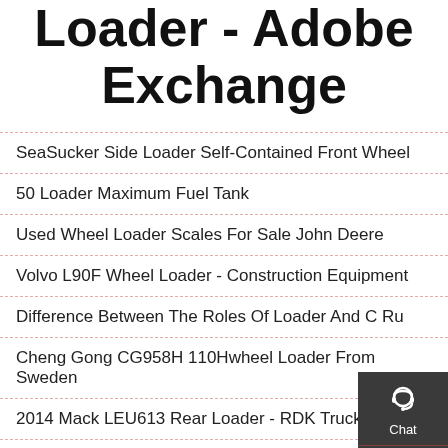Loader - Adobe Exchange
SeaSucker Side Loader Self-Contained Front Wheel
50 Loader Maximum Fuel Tank
Used Wheel Loader Scales For Sale John Deere
Volvo L90F Wheel Loader - Construction Equipment
Difference Between The Roles Of Loader And C Ru
Cheng Gong CG958H 110Hwheel Loader From Sweden
2014 Mack LEU613 Rear Loader - RDK Truck Sales
Crazy Loader Outtro - YouTube